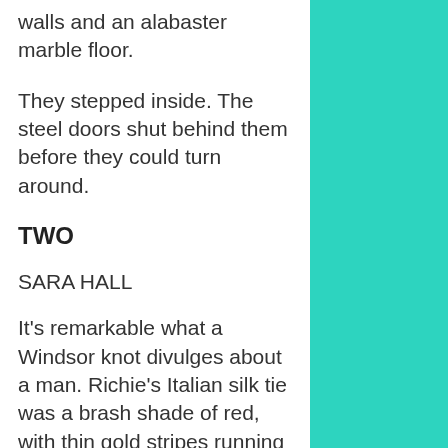walls and an alabaster marble floor.
They stepped inside. The steel doors shut behind them before they could turn around.
TWO
SARA HALL
It's remarkable what a Windsor knot divulges about a man. Richie's Italian silk tie was a brash shade of red, with thin gold stripes running on a diagonal. It was the tie of a man whose arrogance was dwarfed